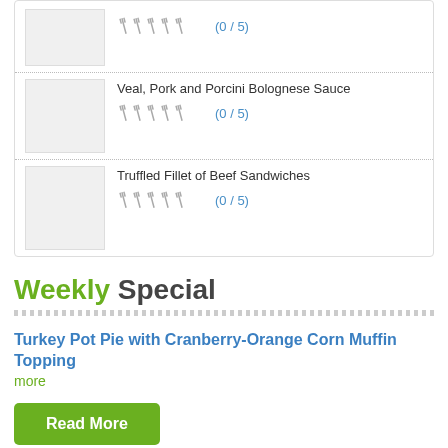[Figure (photo): Thumbnail image placeholder (light gray box) for a recipe]
Veal, Pork and Porcini Bolognese Sauce
(0 / 5)
[Figure (photo): Thumbnail image placeholder (light gray box) for a recipe]
Truffled Fillet of Beef Sandwiches
(0 / 5)
Weekly Special
Turkey Pot Pie with Cranberry-Orange Corn Muffin Topping
more
Read More